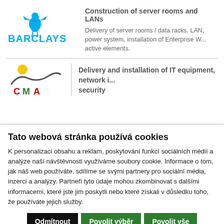[Figure (logo): Barclays logo with eagle icon and blue BARCLAYS text]
Construction of server rooms and LANs
Delivery of server rooms / data racks, LAN, power system, installation of Enterprise W... active elements.
[Figure (logo): CMA logo with sun and wave graphic]
Delivery and installation of IT equipment, network i... security
Tato webová stránka používá cookies
K personalizaci obsahu a reklam, poskytování funkcí sociálních médií a analýze naší návštěvnosti využíváme soubory cookie. Informace o tom, jak náš web používáte, sdílíme se svými partnery pro sociální média, inzerci a analýzy. Partneři tyto údaje mohou zkombinovat s dalšími informacemi, které jste jim poskytli nebo které získali v důsledku toho, že používáte jejich služby.
Odmítnout
Povolit výběr
Povolit vše
✓ Nutné  □ Preferenční  □ Statistické  □ Marketingové  Zobrazit detaily ∨